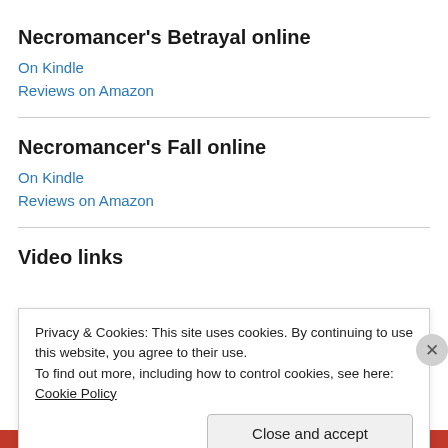Necromancer's Betrayal online
On Kindle
Reviews on Amazon
Necromancer's Fall online
On Kindle
Reviews on Amazon
Video links
Privacy & Cookies: This site uses cookies. By continuing to use this website, you agree to their use.
To find out more, including how to control cookies, see here: Cookie Policy
Close and accept